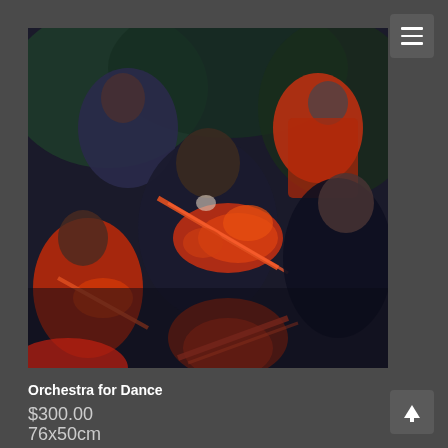[Figure (illustration): Oil painting of orchestra musicians playing violins, depicted in expressive style with dark navy/black clothing and vivid orange-red highlighted instruments against a dark background.]
Orchestra for Dance
$300.00
76x50cm